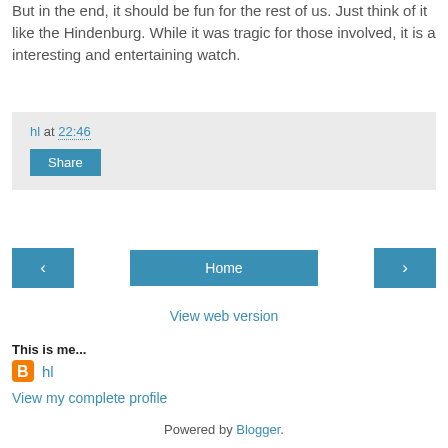But in the end, it should be fun for the rest of us. Just think of it like the Hindenburg. While it was tragic for those involved, it is a interesting and entertaining watch.
hl at 22:46
Share
‹
Home
›
View web version
This is me...
hl
View my complete profile
Powered by Blogger.